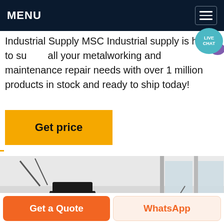MENU
Industrial Supply MSC Industrial supply is here to supply all your metalworking and maintenance repair needs with over 1 million products in stock and ready to ship today!
Get price
[Figure (photo): Two large industrial cone crushers or similar heavy machinery units, black with red accent rings, inside a factory/warehouse building with large windows. Equipment has multiple bolted sections and mechanical fittings.]
Get a Quote
WhatsApp